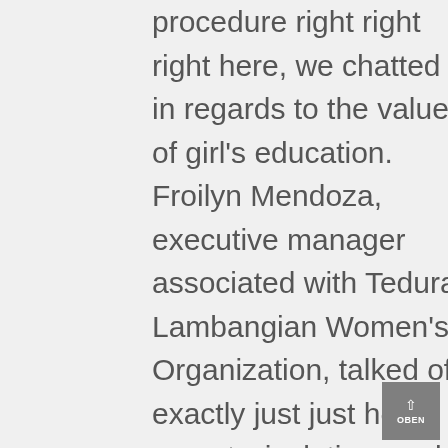procedure right right right here, we chatted in regards to the value of girl's education. Froilyn Mendoza, executive manager associated with Teduray Lambangian Women's Organization, talked of exactly just just how poverty, isolation, and old-fashioned social norms hamper